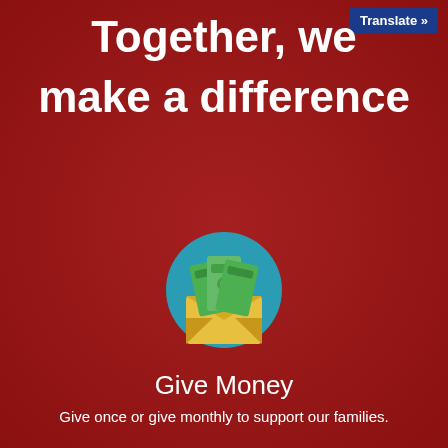Together, we make a difference
Translate »
[Figure (illustration): Icon of an envelope with money/cash bills coming out of it, set against a teal circular background]
Give Money
Give once or give monthly to support our families.